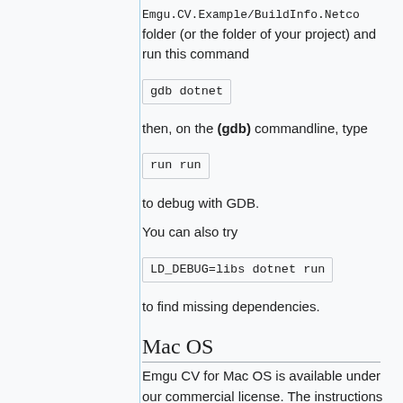Emgu.CV.Example/BuildInfo.Netco folder (or the folder of your project) and run this command
gdb dotnet
then, on the (gdb) commandline, type
run run
to debug with GDB.
You can also try
LD_DEBUG=libs dotnet run
to find missing dependencies.
Mac OS
Emgu CV for Mac OS is available under our commercial license. The instructions below applies to the Emgu CV for Mac OS, Professional or Ultimate commercial release.